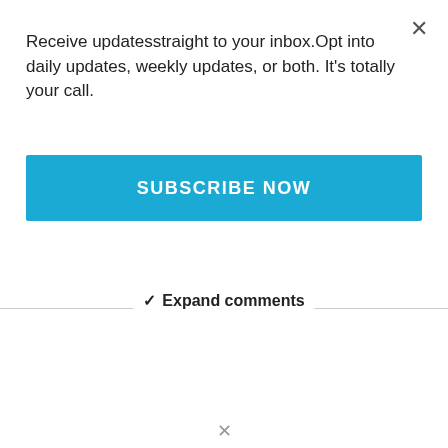×
Receive updatesstraight to your inbox.Opt into daily updates, weekly updates, or both. It's totally your call.
SUBSCRIBE NOW
✓ Expand comments
×